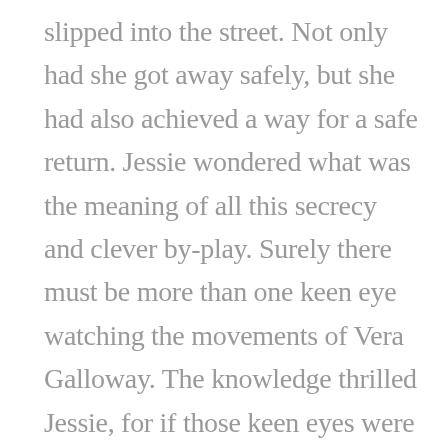slipped into the street. Not only had she got away safely, but she had also achieved a way for a safe return. Jessie wondered what was the meaning of all this secrecy and clever by-play. Surely there must be more than one keen eye watching the movements of Vera Galloway. The knowledge thrilled Jessie, for if those keen eyes were about they would be turned just as intently upon her. A strange man came up to her and held out his hand. He wanted to know if Miss Galloway enjoyed the Sheringham's dance last night. Jessie shrugged her shoulders, and replied that the dance was about as enjoyable